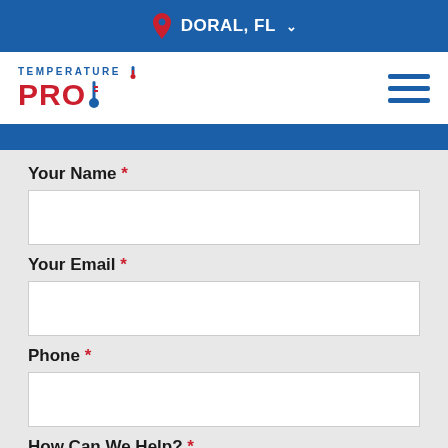DORAL, FL
[Figure (logo): TemperaturePro logo with thermometer icon]
Your Name *
Your Email *
Phone *
How Can We Help? *